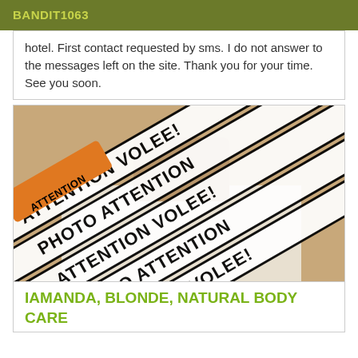BANDIT1063
hotel. First contact requested by sms. I do not answer to the messages left on the site. Thank you for your time. See you soon.
[Figure (photo): Photo of a blonde woman on a bed/couch, overlaid with repeated diagonal banner text reading 'ATTENTION PHOTO VOLEE!' (mirrored/inverted watermark pattern in black and white)]
IAMANDA, BLONDE, NATURAL BODY CARE